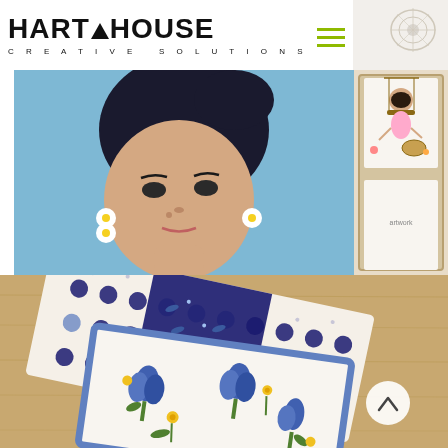[Figure (logo): ArtHouse Creative Solutions logo with black triangle between ART and HOUSE text, green hamburger menu icon to the right]
[Figure (photo): Collage of two photos: left shows a painted portrait of a dark-haired woman with floral earrings on blue background; right shows illustrated artwork of a girl on a swing in a wooden frame, plus a partial lace/textile image in top right corner]
[Figure (photo): Photo of folded fabric/handkerchiefs on a wooden surface: one with navy polka dots and leaf border pattern, another with blue tulips and yellow flowers on white background with scalloped blue edge border]